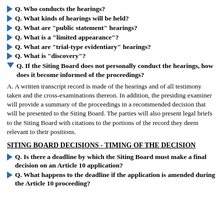Q. Who conducts the hearings?
Q. What kinds of hearings will be held?
Q. What are "public statement" hearings?
Q. What is a "limited appearance"?
Q. What are "trial-type evidentiary" hearings?
Q. What is "discovery"?
Q. If the Siting Board does not personally conduct the hearings, how does it become informed of the proceedings?
A. A written transcript record is made of the hearings and of all testimony taken and the cross-examinations thereon. In addition, the presiding examiner will provide a summary of the proceedings in a recommended decision that will be presented to the Siting Board. The parties will also present legal briefs to the Siting Board with citations to the portions of the record they deem relevant to their positions.
SITING BOARD DECISIONS - TIMING OF THE DECISION
Q. Is there a deadline by which the Siting Board must make a final decision on an Article 10 application?
Q. What happens to the deadline if the application is amended during the Article 10 proceeding?